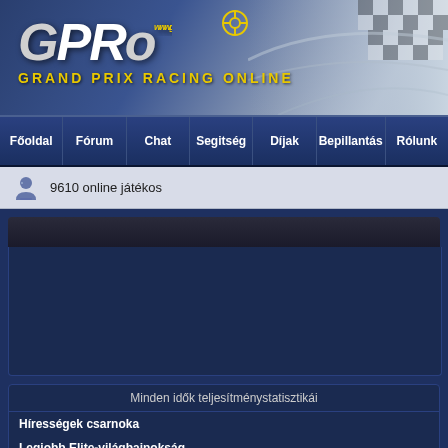[Figure (logo): GPRO Grand Prix Racing Online logo with checkered flag background]
Főoldal | Fórum | Chat | Segitség | Díjak | Bepillantás | Rólunk
9610 online játékos
[Figure (screenshot): Dark navigation/content header bar]
[Figure (screenshot): Large dark blue content area box]
Minden idők teljesítménystatisztikái
Hírességek csarnoka
Legjobb Elite-világbajnokság
Legtöbb világbajnoki címet megszerző managerek
Legjobb managerek (legtöbb futam)
Legjobb managerek (legtöbb győzelem)
Legjobb managerek (legtöbb pole pozíció)
Legjobb managerek (a legtöbb szerzett pont)